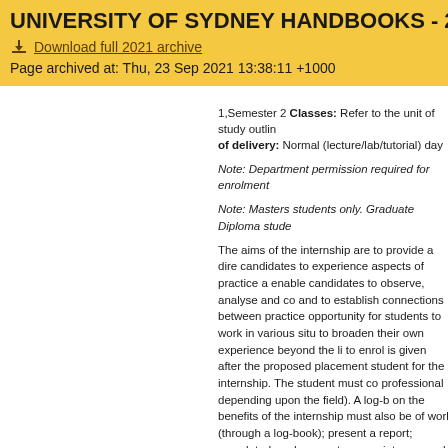UNIVERSITY OF SYDNEY HANDBOOKS - 2021
Download full 2021 archive
Page archived at: Thu, 23 Sep 2021 13:38:11 +1000
1,Semester 2 Classes: Refer to the unit of study outline of delivery: Normal (lecture/lab/tutorial) day
Note: Department permission required for enrolment
Note: Masters students only. Graduate Diploma stude
The aims of the internship are to provide a direct candidates to experience aspects of practice a enable candidates to observe, analyse and co and to establish connections between practice opportunity for students to work in various situ to broaden their own experience beyond the li to enrol is given after the proposed placement student for the internship. The student must co professional depending upon the field). A log-b on the benefits of the internship must also be of work (through a log-book); present a report; completed, and suggest appropriate research